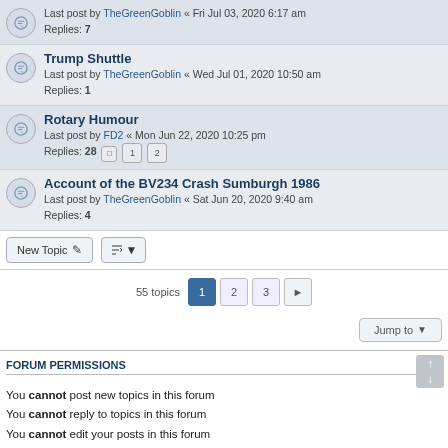Last post by TheGreenGoblin « Fri Jul 03, 2020 6:17 am
Replies: 7
Trump Shuttle
Last post by TheGreenGoblin « Wed Jul 01, 2020 10:50 am
Replies: 1
Rotary Humour
Last post by FD2 « Mon Jun 22, 2020 10:25 pm
Replies: 28 [1] [2]
Account of the BV234 Crash Sumburgh 1986
Last post by TheGreenGoblin « Sat Jun 20, 2020 9:40 am
Replies: 4
55 topics  1  2  3  >
Jump to
FORUM PERMISSIONS
You cannot post new topics in this forum
You cannot reply to topics in this forum
You cannot edit your posts in this forum
You cannot delete your posts in this forum
You cannot post attachments in this forum
Home · Board index   All times are UTC
Style developer by support forum tricolor, Powered by phpBB® Forum Software © phpBB Limited